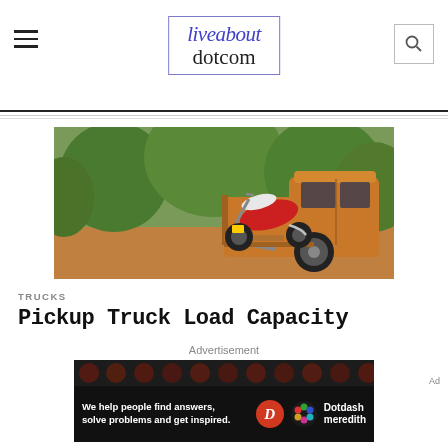liveabout dotcom
[Figure (photo): A red and white dirt/enduro motorcycle loaded in the bed of a gold/orange pickup truck, with green trees in the background on a dirt road.]
TRUCKS
Pickup Truck Load Capacity
Advertisement
[Figure (photo): Dotdash Meredith advertisement banner: dark background with colored dots pattern on top, text reading 'We help people find answers, solve problems and get inspired.' with Dotdash Meredith logo.]